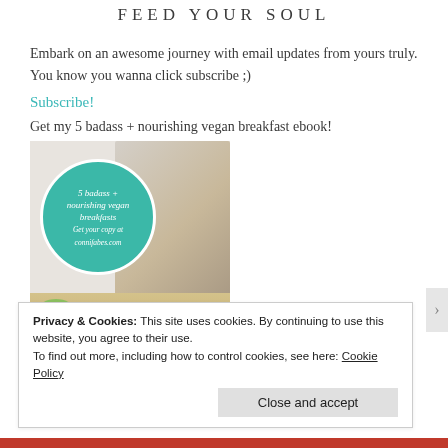FEED YOUR SOUL
Embark on an awesome journey with email updates from yours truly. You know you wanna click subscribe ;)
Subscribe!
Get my 5 badass + nourishing vegan breakfast ebook!
[Figure (photo): Ebook cover image showing a woman chopping vegetables at a cutting board, with a teal circle overlay reading '5 badass + nourishing vegan breakfasts. Get your copy at connifabes.com']
Privacy & Cookies: This site uses cookies. By continuing to use this website, you agree to their use.
To find out more, including how to control cookies, see here: Cookie Policy
Close and accept